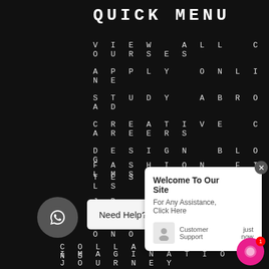QUICK MENU
VIEW ALL COURSES
APPLY ONLINE
STUDY ABROAD
CREATIVE CAREERS
DESIGN BLOG
TESTIMONIALS
JD DESIGN AWARDS
AWARDS & HONORS
COLLABORATIONS
FASHION FILMS
IMAGINATION JOURNEY
[Figure (screenshot): WhatsApp chat button with 'Need Help? Chat with us' bar, a chat popup saying 'Welcome To Our Site, For Any Assistance, Click Here' with Customer Support just now, a pink chat icon with badge 1]